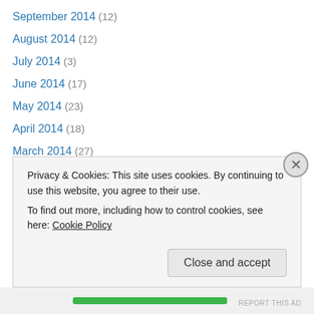September 2014 (12)
August 2014 (12)
July 2014 (3)
June 2014 (17)
May 2014 (23)
April 2014 (18)
March 2014 (27)
February 2014 (31)
January 2014 (20)
December 2013 (11)
November 2013 (10)
October 2013 (6)
September 2013 (8)
Privacy & Cookies: This site uses cookies. By continuing to use this website, you agree to their use. To find out more, including how to control cookies, see here: Cookie Policy
Close and accept